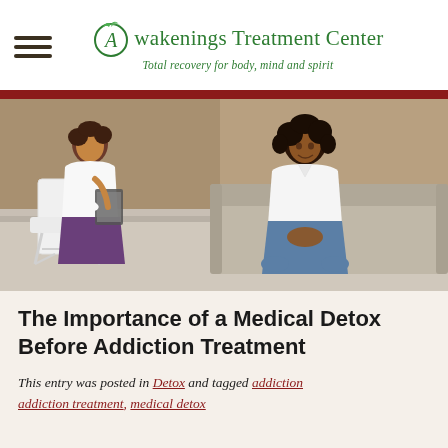Awakenings Treatment Center — Total recovery for body, mind and spirit
[Figure (photo): Two women in a counseling session. A therapist sitting in a white chair holding a notepad facing a young woman sitting on a grey couch, smiling. Indoor setting with wood-paneled wall background.]
The Importance of a Medical Detox Before Addiction Treatment
This entry was posted in Detox and tagged addiction ...